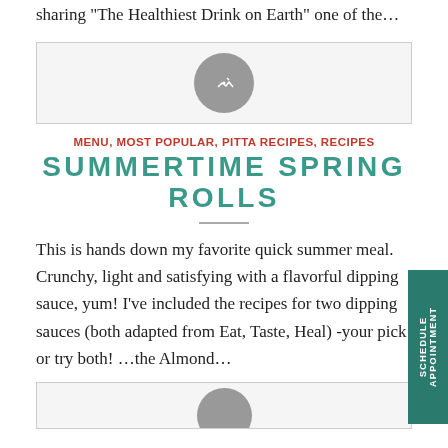sharing "The Healthiest Drink on Earth" one of the…
[Figure (photo): Image placeholder with gray circle icon]
MENU, MOST POPULAR, PITTA RECIPES, RECIPES
SUMMERTIME SPRING ROLLS
This is hands down my favorite quick summer meal. Crunchy, light and satisfying with a flavorful dipping sauce, yum! I've included the recipes for two dipping sauces (both adapted from Eat, Taste, Heal) -your pick or try both! …the Almond…
[Figure (photo): Image placeholder with partial gray circle]